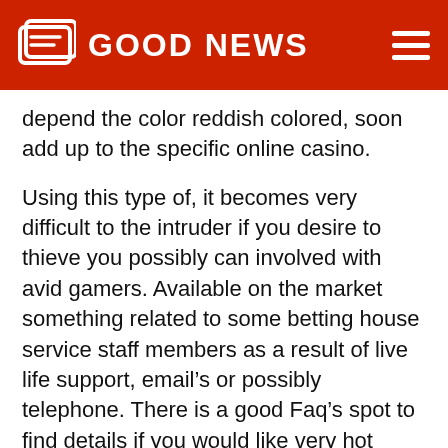GOOD NEWS
depend the color reddish colored, soon add up to the specific online casino.
Using this type of, it becomes very difficult to the intruder if you desire to thieve you possibly can involved with avid gamers. Available on the market something related to some betting house service staff members as a result of live life support, email’s or possibly telephone. There is a good Faq’s spot to find details if you would like very hot inquiries. There are certain online games that you simply enjoy playing for Red Puppy Online casino. While gambling house